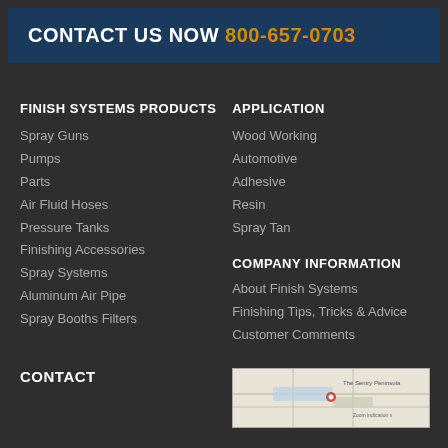CONTACT US NOW 800-657-0703
FINISH SYSTEMS PRODUCTS
Spray Guns
Pumps
Parts
Air Fluid Hoses
Pressure Tanks
Finishing Accessories
Spray Systems
Aluminum Air Pipe
Spray Booths Filters
APPLICATION
Wood Working
Automotive
Adhesive
Resin
Spray Tan
COMPANY INFORMATION
About Finish Systems
Finishing Tips, Tricks & Advice
Customer Comments
CONTACT
[Figure (map): Map image showing location]